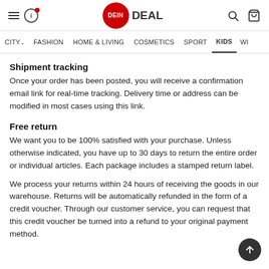DeinDeal – FASHION HOME & LIVING COSMETICS SPORT KIDS WI
Shipment tracking
Once your order has been posted, you will receive a confirmation email link for real-time tracking. Delivery time or address can be modified in most cases using this link.
Free return
We want you to be 100% satisfied with your purchase. Unless otherwise indicated, you have up to 30 days to return the entire order or individual articles. Each package includes a stamped return label.
We process your returns within 24 hours of receiving the goods in our warehouse. Returns will be automatically refunded in the form of a credit voucher. Through our customer service, you can request that this credit voucher be turned into a refund to your original payment method.